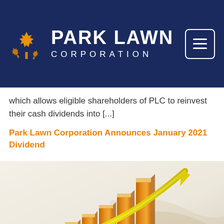[Figure (logo): Park Lawn Corporation logo: golden maple leaf icon on dark navy blue background with white text 'PARK LAWN' and 'CORPORATION', plus a hamburger menu button on the right]
which allows eligible shareholders of PLC to reinvest their cash dividends into [...]
Park Lawn Corporation Announces January 2021 Dividend
[Figure (illustration): 3D golden/amber bar chart with ascending bars and a gold upward arrow curve, on a light beige background. Stylized financial growth illustration.]